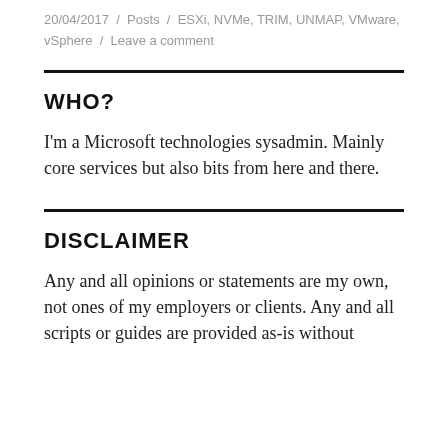20/04/2017 / Posts / ESXi, NVMe, TRIM, UNMAP, VMware, vSphere / Leave a comment
WHO?
I'm a Microsoft technologies sysadmin. Mainly core services but also bits from here and there.
DISCLAIMER
Any and all opinions or statements are my own, not ones of my employers or clients. Any and all scripts or guides are provided as-is without